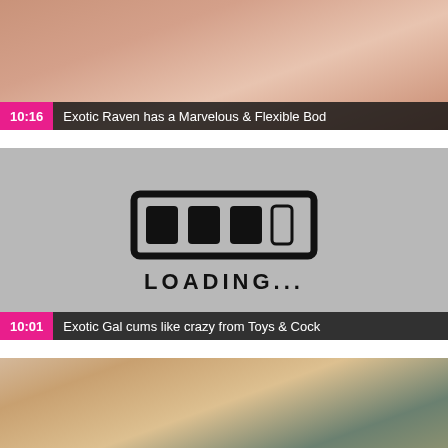[Figure (photo): Video thumbnail showing close-up of people, with duration badge 10:16 and title overlay]
10:16  Exotic Raven has a Marvelous & Flexible Bod
[Figure (photo): Video thumbnail showing loading screen with animated loading bar graphic and LOADING... text, gray background]
10:01  Exotic Gal cums like crazy from Toys & Cock
[Figure (photo): Video thumbnail showing blonde person close-up, partial view]